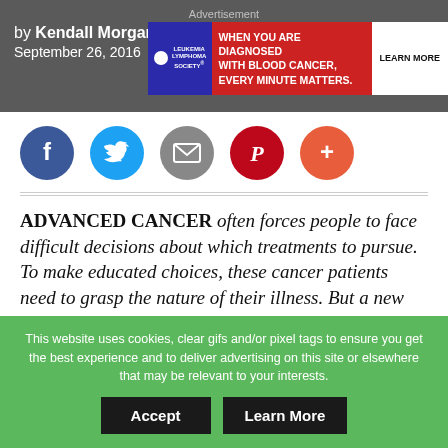Advertisement
by Kendall Morgan
September 26, 2016
[Figure (infographic): Leukemia Lymphoma Society advertisement banner: 'WHEN YOU ARE DIAGNOSED WITH BLOOD CANCER, EVERY MINUTE MATTERS.' with LEARN MORE button]
[Figure (infographic): Social share buttons: Facebook, Twitter, Email, Pinterest, and More (+)]
ADVANCED CANCER often forces people to face difficult decisions about which treatments to pursue. To make educated choices, these cancer patients need to grasp the nature of their illness. But a new study has found that very few cancer patients who have a life
This website uses cookies, clear gifs and/or pixel tags to ensure you get the best experience and to deliver advertising on this site or elsewhere that may be relevant to your interests.
Accept  Learn More